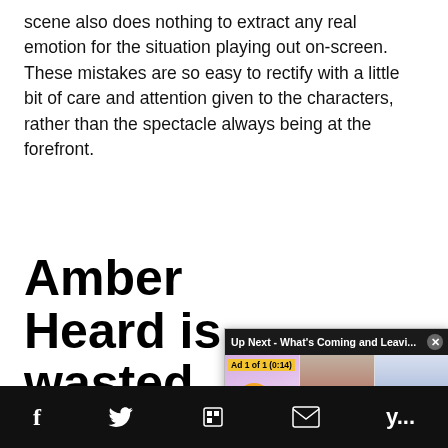scene also does nothing to extract any real emotion for the situation playing out on-screen. These mistakes are so easy to rectify with a little bit of care and attention given to the characters, rather than the spectacle always being at the forefront.
Amber Heard is wasted -
She's in one scene. She to play in Aquaman, bu to do in Justice League
[Figure (screenshot): Video popup overlay showing 'Up Next - What's Coming and Leavi...' with three images of women and an ad label '1 of 1 (0:14)']
f  [twitter bird]  [flipboard]  [envelope]  y...